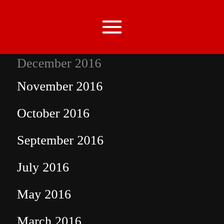[Figure (other): Red navigation header bar with hamburger menu icon (three horizontal white lines)]
December 2016
November 2016
October 2016
September 2016
July 2016
May 2016
March 2016
February 2016
November 2015
October 2015
August 2015